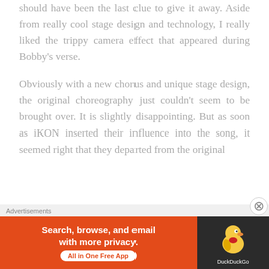should have been the last clue to give it away. Aside from really cool stage design and technology, I really liked the trippy camera effect that appeared during Bobby's verse.
Obviously with a new chorus and unique stage design, the original choreography just couldn't seem to be brought over. It is slightly disappointing. But as soon as iKON inserted their influence into the song, it seemed right that they departed from the original
Advertisements
[Figure (other): DuckDuckGo advertisement banner: orange left side with text 'Search, browse, and email with more privacy. All in One Free App', dark right side with DuckDuckGo duck logo.]